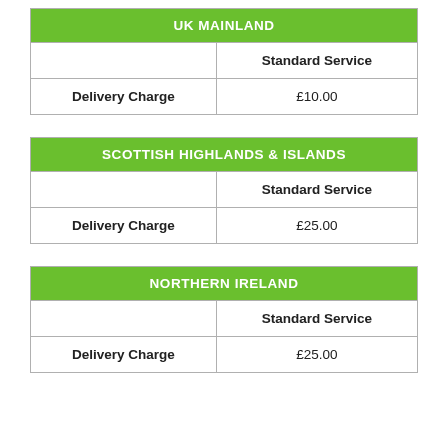| UK MAINLAND |  |
| --- | --- |
|  | Standard Service |
| Delivery Charge | £10.00 |
| SCOTTISH HIGHLANDS & ISLANDS |  |
| --- | --- |
|  | Standard Service |
| Delivery Charge | £25.00 |
| NORTHERN IRELAND |  |
| --- | --- |
|  | Standard Service |
| Delivery Charge | £25.00 |